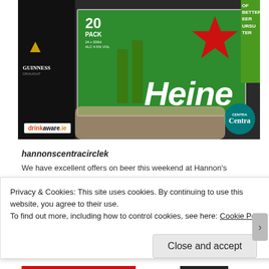[Figure (photo): Photo of a person holding a green Heineken 20-pack sign in front of their face, with Guinness products visible on the left. drinkaware.ie badge bottom-left, Centra badge bottom-right.]
hannonscentracirclek
We have excellent offers on beer this weekend at Hannon's
Privacy & Cookies: This site uses cookies. By continuing to use this website, you agree to their use.
To find out more, including how to control cookies, see here: Cookie Policy
Close and accept